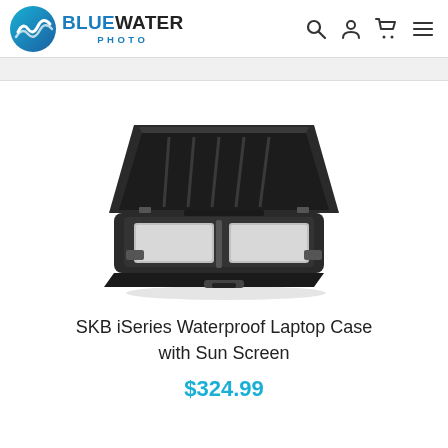BLUEWATER PHOTO
[Figure (photo): SKB iSeries waterproof laptop case open, showing laptop inside and lid with organizer pockets, black hard shell case photographed on white background]
SKB iSeries Waterproof Laptop Case with Sun Screen
$324.99